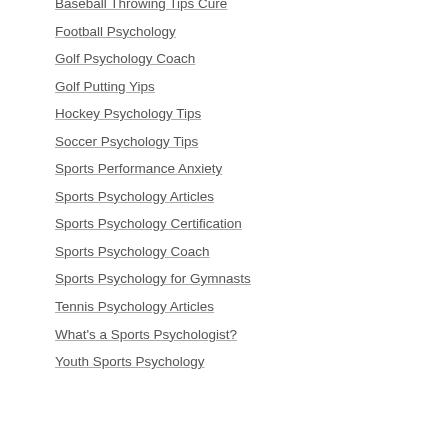Baseball Throwing Tips Cure
Football Psychology
Golf Psychology Coach
Golf Putting Yips
Hockey Psychology Tips
Soccer Psychology Tips
Sports Performance Anxiety
Sports Psychology Articles
Sports Psychology Certification
Sports Psychology Coach
Sports Psychology for Gymnasts
Tennis Psychology Articles
What's a Sports Psychologist?
Youth Sports Psychology